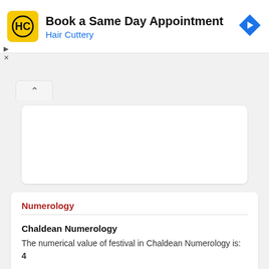[Figure (screenshot): Hair Cuttery advertisement banner with logo, text 'Book a Same Day Appointment' and 'Hair Cuttery' in blue, plus a blue diamond navigation arrow icon]
Numerology
Chaldean Numerology
The numerical value of festival in Chaldean Numerology is: 4
Pythagorean Numerology
The numerical value of festival in Pythagorean Numerology is: 4